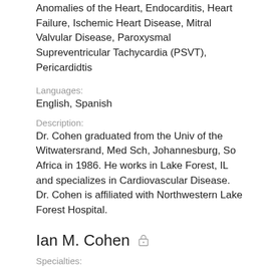Anomalies of the Heart, Endocarditis, Heart Failure, Ischemic Heart Disease, Mitral Valvular Disease, Paroxysmal Supreventricular Tachycardia (PSVT), Pericardidtis
Languages:
English, Spanish
Description:
Dr. Cohen graduated from the Univ of the Witwatersrand, Med Sch, Johannesburg, So Africa in 1986. He works in Lake Forest, IL and specializes in Cardiovascular Disease. Dr. Cohen is affiliated with Northwestern Lake Forest Hospital.
Ian M. Cohen
Specialties:
Obstetrics & Gynecology
Work:
Associated Womens Health Specialists
140 Grandview Ave STE 202, Waterbury, CT 06708